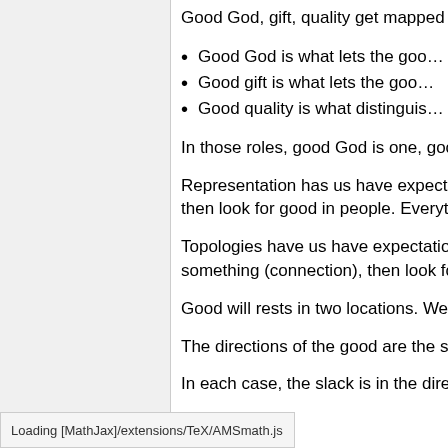Good God, gift, quality get mapped t…
Good God is what lets the goo…
Good gift is what lets the goo…
Good quality is what distinguis…
In those roles, good God is one, goo…
Representation has us have expecta… then look for good in people. Everyth…
Topologies have us have expectation… something (connection), then look fo…
Good will rests in two locations. We…
The directions of the good are the st…
In each case, the slack is in the dire…
good heart = Jesus' belief, rath…
ood God = Jesus' willingness…
Loading [MathJax]/extensions/TeX/AMSmath.js